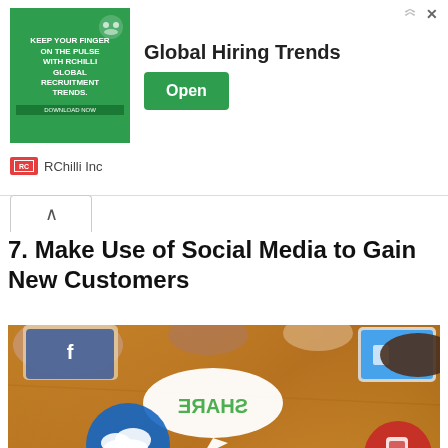[Figure (infographic): Advertisement banner for RChilli Inc Global Hiring Trends with green background image showing recruitment text, Open button, and RChilli Inc branding]
7. Make Use of Social Media to Gain New Customers
[Figure (photo): Top-down view of a wooden table with multiple people's hands using devices and social media icons/speech bubbles showing SHARE, TWEET, LIKE, MEDIA text along with various social media icons]